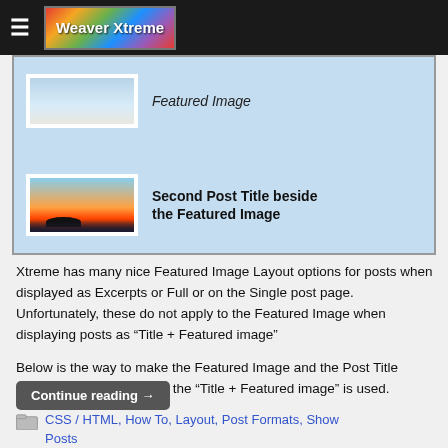Weaver Xtreme
[Figure (screenshot): Screenshot showing two blog post rows with featured images on the left. First row: landscape image with text 'Featured Image'. Second row: sunset/lake image with text 'Second Post Title beside the Featured Image'.]
Xtreme has many nice Featured Image Layout options for posts when displayed as Excerpts or Full or on the Single post page. Unfortunately, these do not apply to the Featured Image when displaying posts as “Title + Featured image”
Below is the way to make the Featured Image and the Post Title display side by side when the “Title + Featured image” is used.
Continue reading →
CSS / HTML, How To, Layout, Post Formats, Show Posts